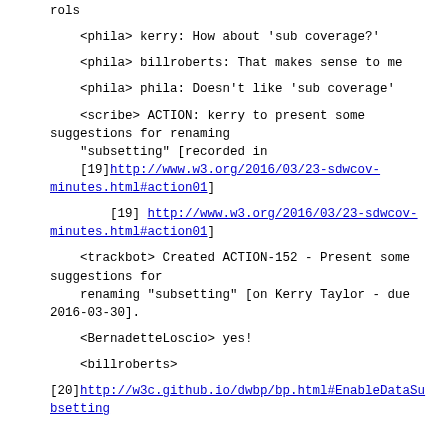rols
<phila> kerry: How about 'sub coverage?'
<phila> billroberts: That makes sense to me
<phila> phila: Doesn't like 'sub coverage'
<scribe> ACTION: kerry to present some suggestions for renaming
    "subsetting" [recorded in
    [19]http://www.w3.org/2016/03/23-sdwcov-minutes.html#action01]
[19] http://www.w3.org/2016/03/23-sdwcov-minutes.html#action01]
<trackbot> Created ACTION-152 - Present some suggestions for
    renaming "subsetting" [on Kerry Taylor - due 2016-03-30].
<BernadetteLoscio> yes!
<billroberts>
[20]http://w3c.github.io/dwbp/bp.html#EnableDataSubsetting